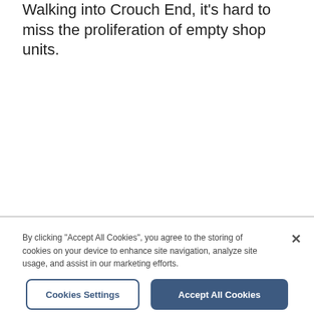Walking into Crouch End, it's hard to miss the proliferation of empty shop units.
By clicking "Accept All Cookies", you agree to the storing of cookies on your device to enhance site navigation, analyze site usage, and assist in our marketing efforts.
Cookies Settings
Accept All Cookies